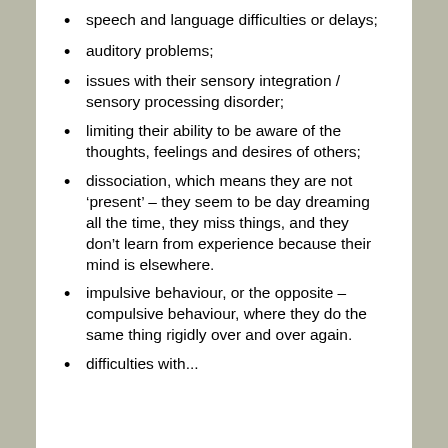speech and language difficulties or delays;
auditory problems;
issues with their sensory integration / sensory processing disorder;
limiting their ability to be aware of the thoughts, feelings and desires of others;
dissociation, which means they are not ‘present’ – they seem to be day dreaming all the time, they miss things, and they don’t learn from experience because their mind is elsewhere.
impulsive behaviour, or the opposite – compulsive behaviour, where they do the same thing rigidly over and over again.
difficulties with...